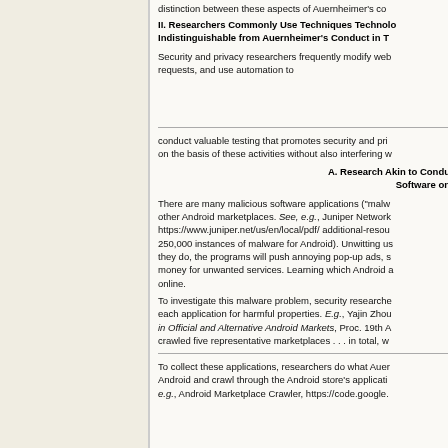distinction between these aspects of Auernheimer's co
II. Researchers Commonly Use Techniques Techno Indistinguishable from Auernheimer's Conduct in T
Security and privacy researchers frequently modify web requests, and use automation to
conduct valuable testing that promotes security and pri on the basis of these activities without also interfering w
A. Research Akin to Condu Software on
There are many malicious software applications (“malw other Android marketplaces. See, e.g., Juniper Network https://www.juniper.net/us/en/local/pdf/ additional-resou 250,000 instances of malware for Android). Unwitting us they do, the programs will push annoying pop-up ads, s money for unwanted services. Learning which Android a online.
To investigate this malware problem, security researche each application for harmful properties. E.g., Yajin Zhou in Official and Alternative Android Markets, Proc. 19th A crawled five representative marketplaces . . . in total, w
To collect these applications, researchers do what Auer Android and crawl through the Android store’s applicati e.g., Android Marketplace Crawler, https://code.google.